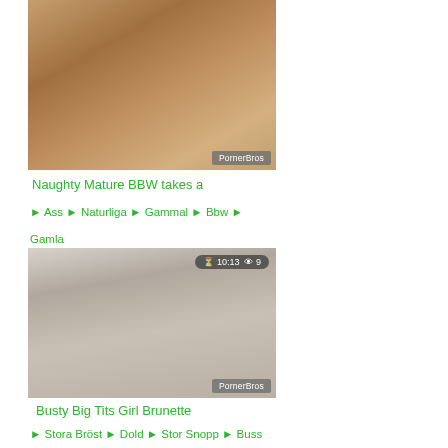[Figure (photo): Thumbnail image of mature BBW video with PornerBros watermark]
Naughty Mature BBW takes a
🏷 Ass 🏷 Naturliga 🏷 Gammal 🏷 Bbw 🏷 Gamla
[Figure (photo): Thumbnail image of Busty Big Tits Girl Brunette video, duration 10:13, 9 views, PornerBros watermark]
Busty Big Tits Girl Brunette
🏷 Stora Bröst 🏷 Dold 🏷 Stor Snopp 🏷 Buss 🏷 Amatör 🏷
[Figure (photo): Thumbnail image of third video, duration 08:07, 4 views, partially visible]